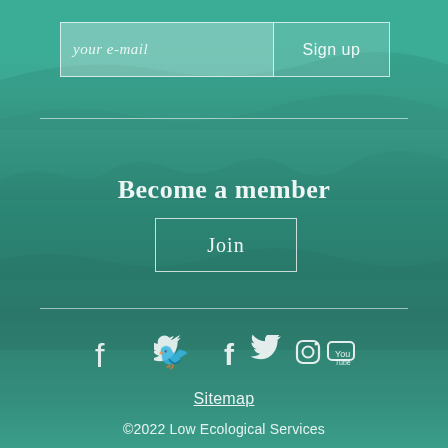[Figure (screenshot): Email signup field with italic placeholder text 'your e-mail' on the left and a 'Sign up' button on the right, displayed on a teal background]
Become a member
Join
[Figure (illustration): Row of four social media icons: Facebook, Twitter, Instagram, YouTube on teal background]
Sitemap
©2022 Low Ecological Services